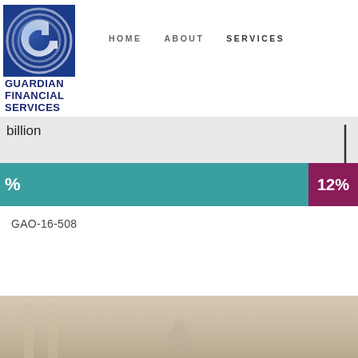[Figure (logo): Guardian Financial Services logo: circular G icon in blue gradient above text 'GUARDIAN FINANCIAL SERVICES' in dark navy bold]
HOME   ABOUT   SERVICES
billion
[Figure (infographic): Horizontal bar chart section showing a teal bar with a percentage label and a purple segment labeled 12%]
GAO-16-508
[Figure (photo): Partial photo visible at bottom of page, appears to be a building or architectural element]